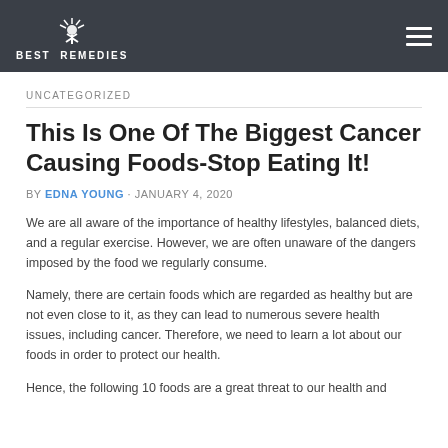BEST REMEDIES
UNCATEGORIZED
This Is One Of The Biggest Cancer Causing Foods-Stop Eating It!
BY EDNA YOUNG · JANUARY 4, 2020
We are all aware of the importance of healthy lifestyles, balanced diets, and a regular exercise. However, we are often unaware of the dangers imposed by the food we regularly consume.
Namely, there are certain foods which are regarded as healthy but are not even close to it, as they can lead to numerous severe health issues, including cancer. Therefore, we need to learn a lot about our foods in order to protect our health.
Hence, the following 10 foods are a great threat to our health and